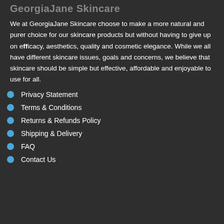GeorgiaJane Skincare
We at GeorgiaJane Skincare choose to make a more natural and purer choice for our skincare products but without having to give up on efficacy, aesthetics, quality and cosmetic elegance. While we all have different skincare issues, goals and concerns, we believe that skincare should be simple but effective, affordable and enjoyable to use for all.
Privacy Statement
Terms & Conditions
Returns & Refunds Policy
Shipping & Delivery
FAQ
Contact Us